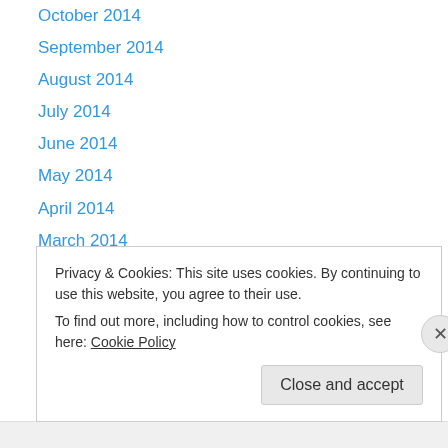October 2014
September 2014
August 2014
July 2014
June 2014
May 2014
April 2014
March 2014
February 2014
December 2013
November 2013
October 2013
September 2013
Privacy & Cookies: This site uses cookies. By continuing to use this website, you agree to their use.
To find out more, including how to control cookies, see here: Cookie Policy